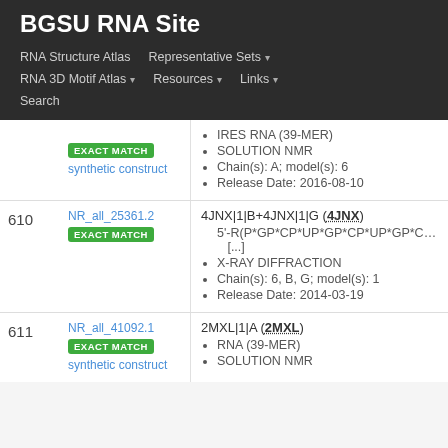BGSU RNA Site
RNA Structure Atlas | Representative Sets ▾ | RNA 3D Motif Atlas ▾ | Resources ▾ | Links ▾ | Search
| # | ID | Info |
| --- | --- | --- |
|  | NR_all_25361.2 EXACT MATCH synthetic construct | IRES RNA (39-MER) • SOLUTION NMR • Chain(s): A; model(s): 6 • Release Date: 2016-08-10 |
| 610 | NR_all_25361.2 EXACT MATCH | 4JNX|1|B+4JNX|1|G (4JNX) • 5'-R(P*GP*CP*UP*GP*CP*UP*GP*CP*U [...] • X-RAY DIFFRACTION • Chain(s): 6, B, G; model(s): 1 • Release Date: 2014-03-19 |
| 611 | NR_all_41092.1 EXACT MATCH synthetic construct | 2MXL|1|A (2MXL) • RNA (39-MER) • SOLUTION NMR |